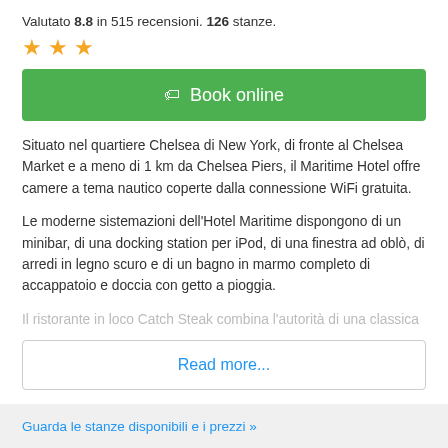Valutato 8.8 in 515 recensioni. 126 stanze.
[Figure (other): Three gold/orange stars rating]
Book online
Situato nel quartiere Chelsea di New York, di fronte al Chelsea Market e a meno di 1 km da Chelsea Piers, il Maritime Hotel offre camere a tema nautico coperte dalla connessione WiFi gratuita.
Le moderne sistemazioni dell'Hotel Maritime dispongono di un minibar, di una docking station per iPod, di una finestra ad oblò, di arredi in legno scuro e di un bagno in marmo completo di accappatoio e doccia con getto a pioggia.
Il ristorante in loco Catch Steak combina l'autorità di una classica
Read more...
Guarda le stanze disponibili e i prezzi »